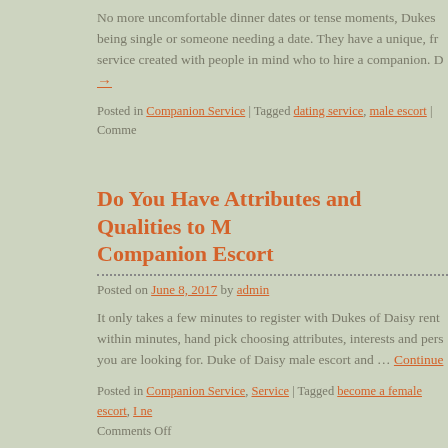No more uncomfortable dinner dates or tense moments, Dukes being single or someone needing a date. They have a unique, fr service created with people in mind who to hire a companion. D
→
Posted in Companion Service | Tagged dating service, male escort | Comme
Do You Have Attributes and Qualities to M Companion Escort
Posted on June 8, 2017 by admin
It only takes a few minutes to register with Dukes of Daisy rent within minutes, hand pick choosing attributes, interests and pers you are looking for. Duke of Daisy male escort and … Continue
Posted in Companion Service, Service | Tagged become a female escort, I ne Comments Off
Become a Female Companion and Earn C